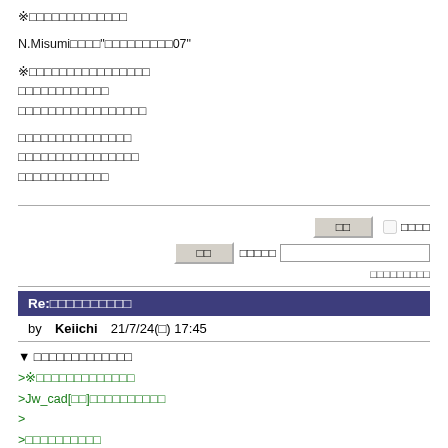※□□□□□□□□□□□□□
N.Misumi□□□□"□□□□□□□□□07"
※□□□□□□□□□□□□□□□□
□□□□□□□□□□□□
□□□□□□□□□□□□□□□□□
□□□□□□□□□□□□□□□
□□□□□□□□□□□□□□□□
□□□□□□□□□□□□
Re:□□□□□□□□□□
by Keiichi 21/7/24(□) 17:45
▼ □□□□□□□□□□□□□
>※□□□□□□□□□□□□□
>Jw_cad[□□]□□□□□□□□□□
>
>□□□□□□□□□□
>Shift+Ctrl□□□□□□□□□(R)
>□□□□(R)□□□□□□□□□□□